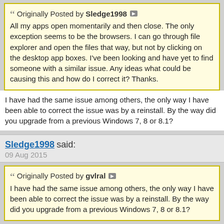Originally Posted by Sledge1998 — All my apps open momentarily and then close. The only exception seems to be the browsers. I can go through file explorer and open the files that way, but not by clicking on the desktop app boxes. I've been looking and have yet to find someone with a similar issue. Any ideas what could be causing this and how do I correct it? Thanks.
I have had the same issue among others, the only way I have been able to correct the issue was by a reinstall. By the way did you upgrade from a previous Windows 7, 8 or 8.1?
Sledge1998 said: 09 Aug 2015
Originally Posted by gvlral — I have had the same issue among others, the only way I have been able to correct the issue was by a reinstall. By the way did you upgrade from a previous Windows 7, 8 or 8.1?